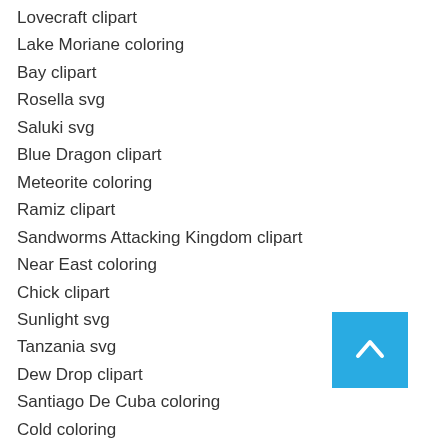Lovecraft clipart
Lake Moriane coloring
Bay clipart
Rosella svg
Saluki svg
Blue Dragon clipart
Meteorite coloring
Ramiz clipart
Sandworms Attacking Kingdom clipart
Near East coloring
Chick clipart
Sunlight svg
Tanzania svg
Dew Drop clipart
Santiago De Cuba coloring
Cold coloring
Digital Art Red coloring
Tenasserim Hills coloring
Grizzly clipart
Blume svg
Cappadocia svg
Leopard Shark clipart
[Figure (other): Blue back-to-top button with upward chevron arrow]